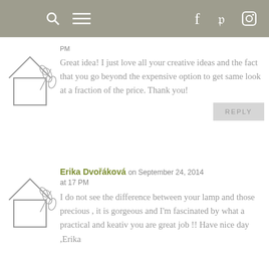navigation bar with search, menu, facebook, pinterest, instagram icons
PM
Great idea! I just love all your creative ideas and the fact that you go beyond the expensive option to get same look at a fraction of the price. Thank you!
REPLY
Erika Dvořáková on September 24, 2014 at 17 PM
I do not see the difference between your lamp and those precious , it is gorgeous and I'm fascinated by what a practical and keativ you are great job !! Have nice day ,Erika